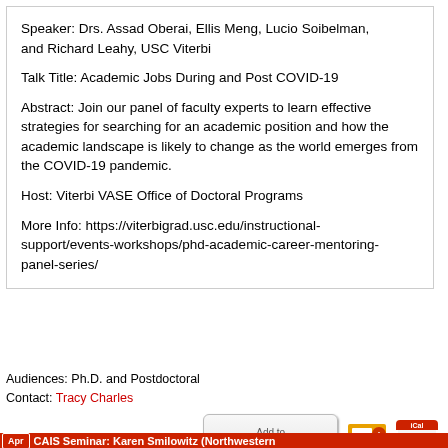Speaker: Drs. Assad Oberai, Ellis Meng, Lucio Soibelman, and Richard Leahy, USC Viterbi
Talk Title: Academic Jobs During and Post COVID-19
Abstract: Join our panel of faculty experts to learn effective strategies for searching for an academic position and how the academic landscape is likely to change as the world emerges from the COVID-19 pandemic.
Host: Viterbi VASE Office of Doctoral Programs
More Info: https://viterbigrad.usc.edu/instructional-support/events-workshops/phd-academic-career-mentoring-panel-series/
Audiences: Ph.D. and Postdoctoral
Contact: Tracy Charles
[Figure (other): Add to Google Calendar button, Outlook calendar icon, and iCal calendar icon]
Apr CAIS Seminar: Karen Smilowitz (Northwestern